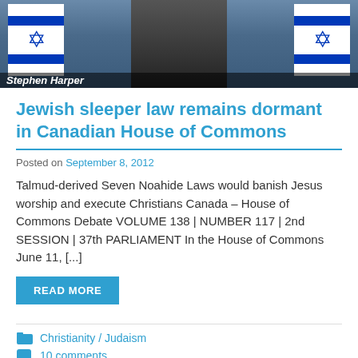[Figure (photo): Photo of a person in dark suit standing in front of Israeli flags, with a partially visible text overlay reading 'Stephen Harper' at the bottom]
Jewish sleeper law remains dormant in Canadian House of Commons
Posted on September 8, 2012
Talmud-derived Seven Noahide Laws would banish Jesus worship and execute Christians Canada – House of Commons Debate VOLUME 138 | NUMBER 117 | 2nd SESSION | 37th PARLIAMENT In the House of Commons June 11, [...]
READ MORE
Christianity / Judaism
10 comments